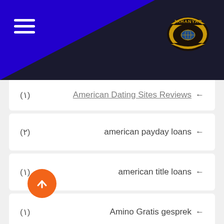[Figure (logo): Jahanyar logo badge — gold shield badge with globe motif on dark background]
(۱)  American Dating Sites Reviews ←
(۲)  american payday loans ←
(۱)  american title loans ←
(۱)  Amino Gratis gesprek ←
(۱)  Amolatina dating app ←
(۱)  amolatina sign in ←